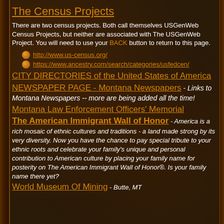The Census Projects
There are two census projects. Both call themselves USGenWeb Census Projects, but neither are associated with The USGenWeb Project. You will need to use your BACK button to return to this page.
http://www.us-census.org/
https://www.ancestry.com/search/categories/usfedcen/
CITY DIRECTORIES of the United States of America
NEWSPAPER PAGE - Montana Newspapers - Links to Montana Newspapers -- more are being added all the time!
Montana Law Enforcement Officers' Memorial
The American Immigrant Wall of Honor - America is a rich mosaic of ethnic cultures and traditions - a land made strong by its very diversity. Now you have the chance to pay special tribute to your ethnic roots and celebrate your family's unique and personal contribution to American culture by placing your family name for posterity on The American Immigrant Wall of Honor®. Is your family name there yet?
World Museum Of Mining - Butte, MT